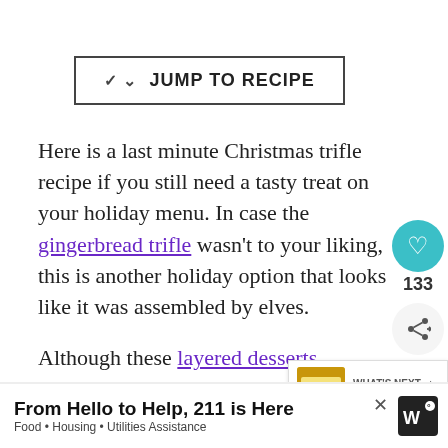JUMP TO RECIPE
Here is a last minute Christmas trifle recipe if you still need a tasty treat on your holiday menu. In case the gingerbread trifle wasn't to your liking, this is another holiday option that looks like it was assembled by elves.
Although these layered desserts are usually quick and easy, this one has a few more steps. Of course, Christmas trifle desserts are completely tweakable and there are ways to sp...
[Figure (infographic): Social sharing widget with teal heart button showing 133 likes and a share icon button]
[Figure (infographic): What's Next widget showing a Brownie Trifle thumbnail image with arrow]
From Hello to Help, 211 is Here
Food • Housing • Utilities Assistance